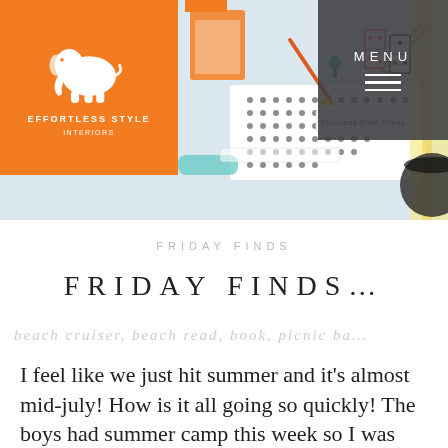[Figure (photo): Website header banner showing a flat lay of colorful desk/craft items (scissors, pencils, notebooks, dominoes, etc.) on a white background. An orange logo box with white elephant in top left reads 'EFFORTLESS STYLE INTERIORS'. A dark grey menu button is in the top right corner with 'MENU' text and three horizontal lines.]
FRIDAY FINDS
FRIDAY FINDS…
beach cruiser, beach read, book, picnic ba…
I feel like we just hit summer and it's almost mid-july! How is it all going so quickly! The boys had summer camp this week so I was able to get back to my normal work routine! So many fun design projects in the works along with